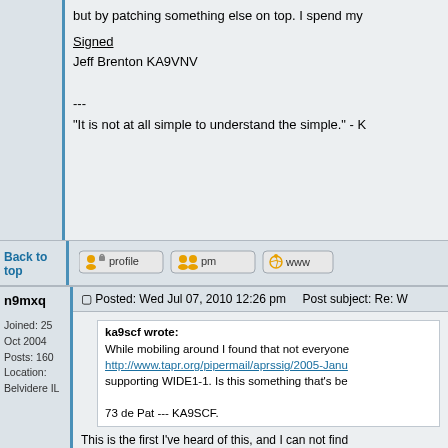but by patching something else on top. I spend my
Signed
Jeff Brenton KA9VNV

---
"It is not at all simple to understand the simple." - K
Back to top
[Figure (screenshot): Forum buttons: profile, pm, www]
n9mxq
Joined: 25 Oct 2004
Posts: 160
Location: Belvidere IL
Posted: Wed Jul 07, 2010 12:26 pm    Post subject: Re: W
ka9scf wrote:
While mobiling around I found that not everyone
http://www.tapr.org/pipermail/aprssig/2005-Janu
supporting WIDE1-1. Is this something that's be

73 de Pat --- KA9SCF.
This is the first I've heard of this, and I can not find
Our network is working fine, and I see no reason t post.
My home and wide digi will continue to support wi
Signed